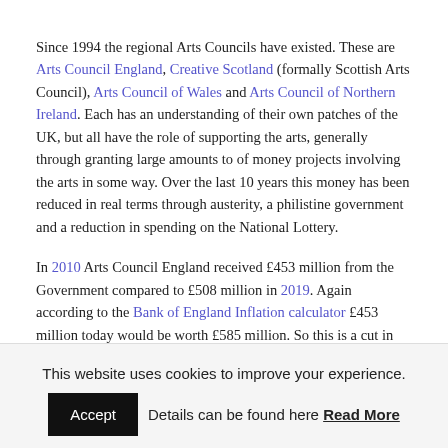Since 1994 the regional Arts Councils have existed. These are Arts Council England, Creative Scotland (formally Scottish Arts Council), Arts Council of Wales and Arts Council of Northern Ireland. Each has an understanding of their own patches of the UK, but all have the role of supporting the arts, generally through granting large amounts to of money projects involving the arts in some way. Over the last 10 years this money has been reduced in real terms through austerity, a philistine government and a reduction in spending on the National Lottery.
In 2010 Arts Council England received £453 million from the Government compared to £508 million in 2019. Again according to the Bank of England Inflation calculator £453 million today would be worth £585 million. So this is a cut in real terms of £77 million. And that 13% cut is before taking into account reduction in Lottery income which, on my reading of ACEs accounts
This website uses cookies to improve your experience.
Accept   Details can be found here Read More